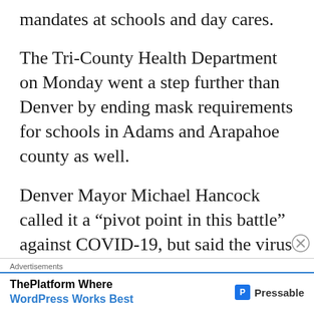mandates at schools and day cares.
The Tri-County Health Department on Monday went a step further than Denver by ending mask requirements for schools in Adams and Arapahoe county as well.
Denver Mayor Michael Hancock called it a “pivot point in this battle” against COVID-19, but said the virus will just be something “we’re going to have to manage and learn to live
Advertisements
[Figure (screenshot): Advertisement banner: ThePlatform Where WordPress Works Best - Pressable]